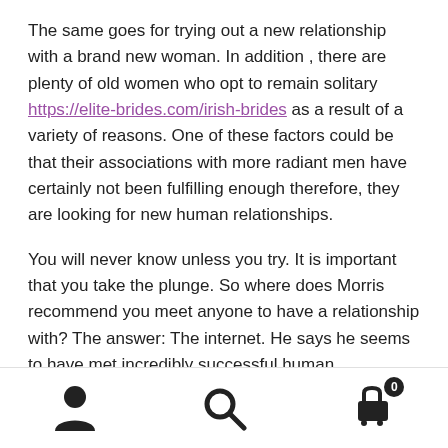The same goes for trying out a new relationship with a brand new woman. In addition , there are plenty of old women who opt to remain solitary https://elite-brides.com/irish-brides as a result of a variety of reasons. One of these factors could be that their associations with more radiant men have certainly not been fulfilling enough therefore, they are looking for new human relationships.
You will never know unless you try. It is important that you take the plunge. So where does Morris recommend you meet anyone to have a relationship with? The answer: The internet. He says he seems to have met incredibly successful human relationships through the net and in person. So go out right now there, browse the net, meet
[Figure (infographic): Bottom navigation bar with three icons: a person/user icon on the left, a search/magnifying glass icon in the center, and a shopping cart icon with a badge showing '0' on the right.]